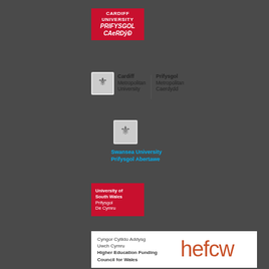[Figure (logo): Cardiff University logo - red background with white text 'CARDIFF UNIVERSITY' and Welsh 'PRIFYSGOL CAERDYÐ']
[Figure (logo): Cardiff Metropolitan University logo with shield emblem and bilingual text]
[Figure (logo): Swansea University / Prifysgol Abertawe logo with shield and blue text]
[Figure (logo): University of South Wales / Prifysgol De Cymru logo - red background with white text]
[Figure (logo): HEFCW - Higher Education Funding Council for Wales / Cyngor Cyllido Addysg Uwch Cymru logo on white background]